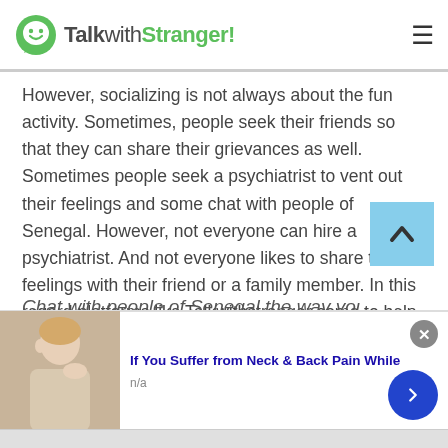TalkwithStranger!
However, socializing is not always about the fun activity. Sometimes, people seek their friends so that they can share their grievances as well. Sometimes people seek a psychiatrist to vent out their feelings and some chat with people of Senegal. However, not everyone can hire a psychiatrist. And not everyone likes to share their feelings with their friend or a family member. In this regard platforms like Talkwithstranger come to help the people chat with people of Senegal.
Chat with people of Senegal the way you
[Figure (screenshot): Advertisement banner: image of woman touching neck, text 'If You Suffer from Neck & Back Pain While', subtext 'n/a', with close button and arrow navigation button]